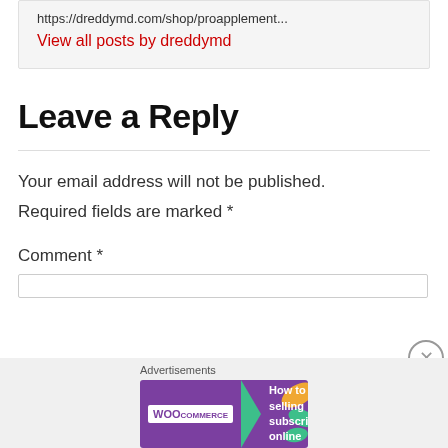https://dreddymd.com/shop/proapplement...
View all posts by dreddymd
Leave a Reply
Your email address will not be published.
Required fields are marked *
Comment *
Advertisements
[Figure (screenshot): WooCommerce advertisement banner: 'How to start selling subscriptions online']